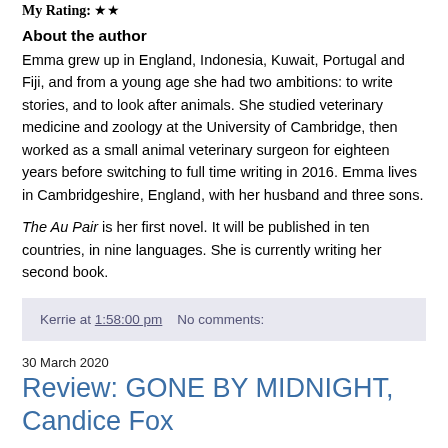My Rating: ★★
About the author
Emma grew up in England, Indonesia, Kuwait, Portugal and Fiji, and from a young age she had two ambitions: to write stories, and to look after animals. She studied veterinary medicine and zoology at the University of Cambridge, then worked as a small animal veterinary surgeon for eighteen years before switching to full time writing in 2016. Emma lives in Cambridgeshire, England, with her husband and three sons.
The Au Pair is her first novel. It will be published in ten countries, in nine languages. She is currently writing her second book.
Kerrie at 1:58:00 pm    No comments:
30 March 2020
Review: GONE BY MIDNIGHT, Candice Fox